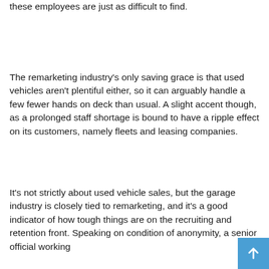these employees are just as difficult to find.
The remarketing industry's only saving grace is that used vehicles aren't plentiful either, so it can arguably handle a few fewer hands on deck than usual. A slight accent though, as a prolonged staff shortage is bound to have a ripple effect on its customers, namely fleets and leasing companies.
It's not strictly about used vehicle sales, but the garage industry is closely tied to remarketing, and it's a good indicator of how tough things are on the recruiting and retention front. Speaking on condition of anonymity, a senior official working